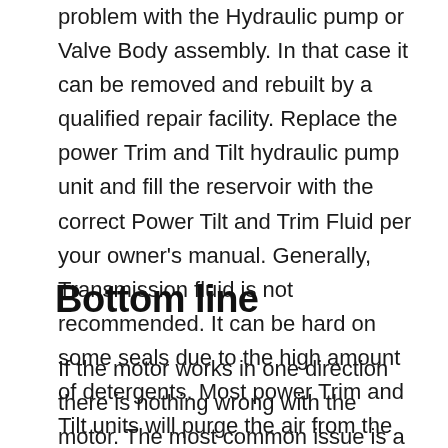problem with the Hydraulic pump or Valve Body assembly. In that case it can be removed and rebuilt by a qualified repair facility. Replace the power Trim and Tilt hydraulic pump unit and fill the reservoir with the correct Power Tilt and Trim Fluid per your owner's manual. Generally, Transmission fluid is not recommended. It can be hard on some seals due to the high amount of detergents. Most power Trim and Tilt units will purge the air from the system just by running the engine or sterndrive up and down two or three times with the vent plug loose.
Bottom line
If the motor works in one direction there is nothing wrong with the motor. The most common issue is a bad solenoid on a 3-wire motor or a bad relay on 2- wire motor. If the motor runs but won't raise or lower the